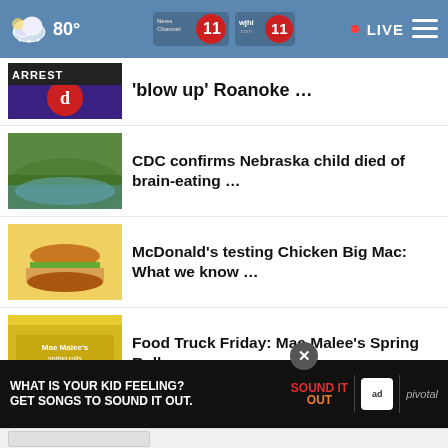80° | News Channel 11 WJHL 11 | LIVE
'blow up' Roanoke …
CDC confirms Nebraska child died of brain-eating …
McDonald's testing Chicken Big Mac: What we know …
Food Truck Friday: Mae Malee's Spring Rolls
Close to 2,000 families have moved to Kingsport since …
Fire engulfs part of hotel tha…spired
[Figure (screenshot): Advertisement banner: WHAT IS YOUR KID FEELING? GET SONGS TO SOUND IT OUT. Sound It Out / ad council / pivotal]